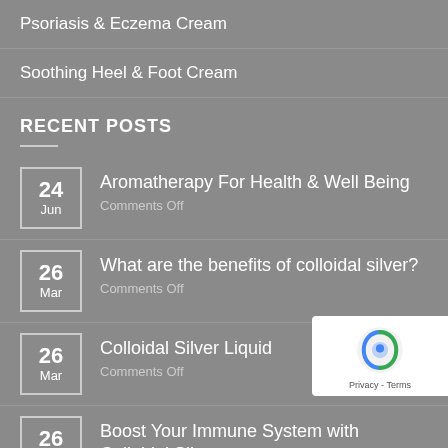Psoriasis & Eczema Cream
Soothing Heel & Foot Cream
RECENT POSTS
24 Jun — Aromatherapy For Health & Well Being — Comments Off
26 Mar — What are the benefits of colloidal silver? — Comments Off
26 Mar — Colloidal Silver Liquid — Comments Off
26 Mar — Boost Your Immune System with Colloidal Silver — Comments Off
26 Mar — Colloidal Silver Health